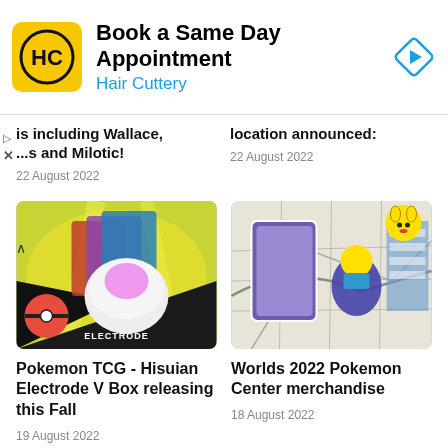[Figure (screenshot): Hair Cuttery ad banner with yellow logo showing HC letters, title 'Book a Same Day Appointment', subtitle 'Hair Cuttery', and a blue navigation arrow icon on the right]
is including Wallace, ...s and Milotic!
22 August 2022
location announced:
22 August 2022
[Figure (photo): Pokemon TCG Hisuian Electrode V Box product image with yellow lightning background]
Pokemon TCG - Hisuian Electrode V Box releasing this Fall
19 August 2022
[Figure (photo): Worlds 2022 Pokemon Center merchandise image showing Pokemon trading cards, Pikachu figure, and store shelves]
Worlds 2022 Pokemon Center merchandise
18 August 2022